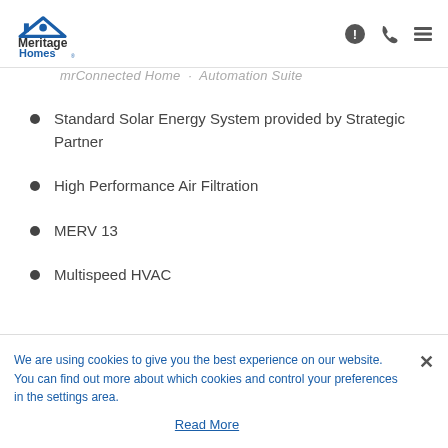Meritage Homes [logo and navigation icons]
mrConnected Home · Automation Suite
Standard Solar Energy System provided by Strategic Partner
High Performance Air Filtration
MERV 13
Multispeed HVAC
We are using cookies to give you the best experience on our website. You can find out more about which cookies and control your preferences in the settings area.
Read More